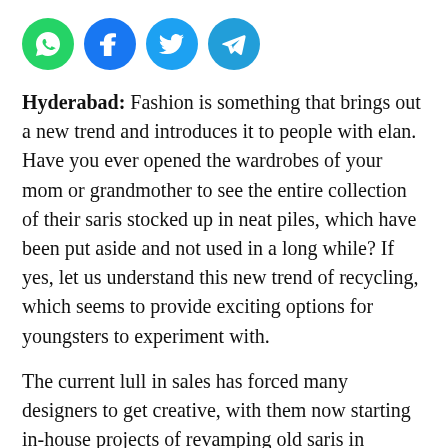[Figure (other): Four social media share icons in circles: WhatsApp (green), Facebook (blue), Twitter (light blue), Telegram (blue)]
Hyderabad: Fashion is something that brings out a new trend and introduces it to people with elan. Have you ever opened the wardrobes of your mom or grandmother to see the entire collection of their saris stocked up in neat piles, which have been put aside and not used in a long while? If yes, let us understand this new trend of recycling, which seems to provide exciting options for youngsters to experiment with.
The current lull in sales has forced many designers to get creative, with them now starting in-house projects of revamping old saris in customer's wardrobes. “We welcome clients to get their old